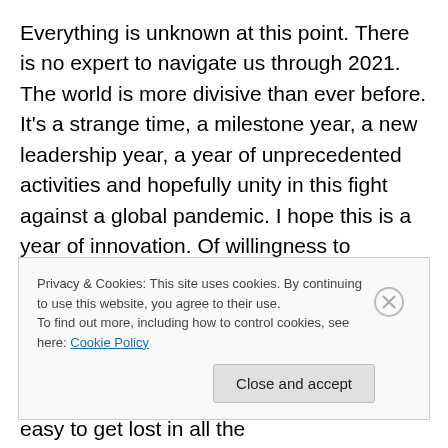Everything is unknown at this point. There is no expert to navigate us through 2021. The world is more divisive than ever before. It's a strange time, a milestone year, a new leadership year, a year of unprecedented activities and hopefully unity in this fight against a global pandemic. I hope this is a year of innovation. Of willingness to change. The one thing I do know is that my children have adapted in incredible ways to the changes presented to them and are thriving with grace in ways I could not have imagined. There is hope for adults too. It is easy to get lost in all the
Privacy & Cookies: This site uses cookies. By continuing to use this website, you agree to their use.
To find out more, including how to control cookies, see here: Cookie Policy
Close and accept